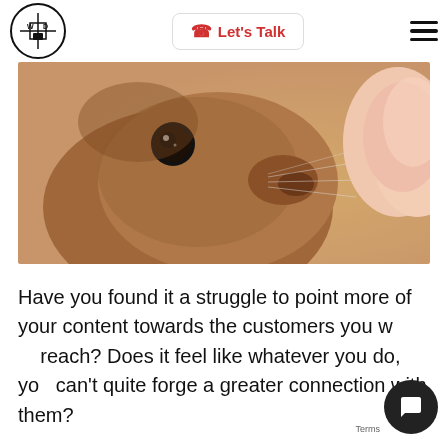Let's Talk
[Figure (photo): Close-up photograph of a small rodent/squirrel touching noses with a human finger, warm bokeh background]
Have you found it a struggle to point more of your content towards the customers you want to reach? Does it feel like whatever you do, you can't quite forge a greater connection with them?